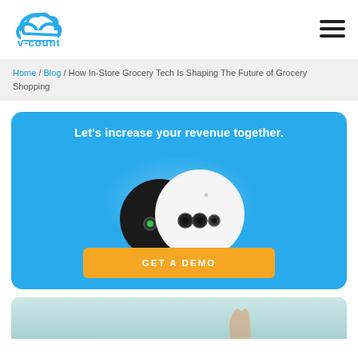[Figure (logo): V-Count logo: cloud icon in blue with 'v-count' text beneath]
[Figure (other): Hamburger menu icon (three horizontal lines)]
Home / Blog / How In-Store Grocery Tech Is Shaping The Future of Grocery Shopping
[Figure (infographic): Blue CTA banner with text 'Let's increase your revenue together.' showing two circular sensor devices (black and white) and an orange GET A DEMO button]
[Figure (photo): Partial photo at bottom showing a hand holding something against a light blue background]